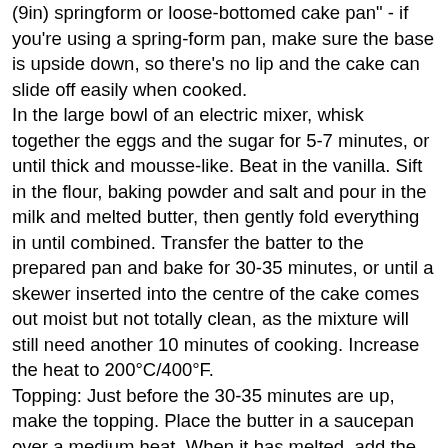(9in) springform or loose-bottomed cake pan" - if you're using a spring-form pan, make sure the base is upside down, so there's no lip and the cake can slide off easily when cooked. In the large bowl of an electric mixer, whisk together the eggs and the sugar for 5-7 minutes, or until thick and mousse-like. Beat in the vanilla. Sift in the flour, baking powder and salt and pour in the milk and melted butter, then gently fold everything in until combined. Transfer the batter to the prepared pan and bake for 30-35 minutes, or until a skewer inserted into the centre of the cake comes out moist but not totally clean, as the mixture will still need another 10 minutes of cooking. Increase the heat to 200°C/400°F. Topping: Just before the 30-35 minutes are up, make the topping. Place the butter in a saucepan over a medium heat. When it has melted, add the remaining ingredients and bring to the boil, allowing the mixture to bubble away for 1 minute. After the cake has been cooking for the first 30-35 minutes, remove it from the oven and spoon the almond mixture evenly over the top. Place it back in the oven and bake for about 10-15 minutes or until the topping is golden. Leave to cool in the pan for 10 minutes. Using a small, sharp